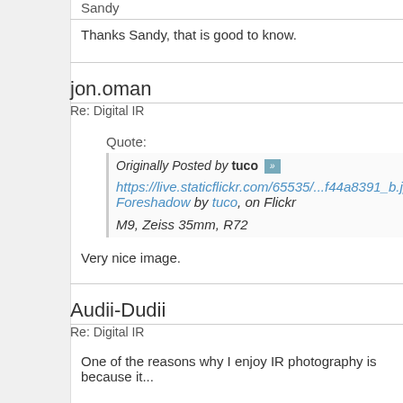Sandy
Thanks Sandy, that is good to know.
jon.oman
Re: Digital IR
Quote:
Originally Posted by tuco
https://live.staticflickr.com/65535/...f44a8391_b.jpg
Foreshadow by tuco, on Flickr
M9, Zeiss 35mm, R72
Very nice image.
Audii-Dudii
Re: Digital IR
One of the reasons why I enjoy IR photography is because it...